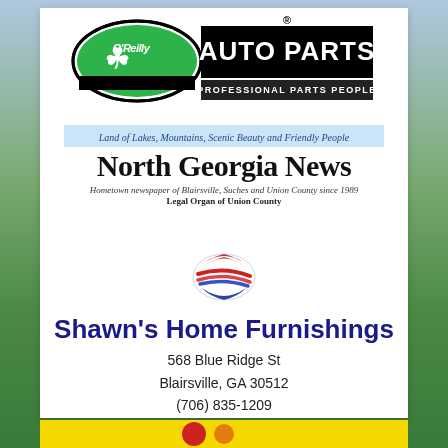[Figure (logo): O'Reilly Auto Parts logo with green clover circle, green and black 'O'Reilly' text, black bold 'AUTO PARTS' text, and tagline 'PROFESSIONAL PARTS PEOPLE']
[Figure (logo): North Georgia News newspaper masthead with tagline 'Land of Lakes, Mountains, Scenic Beauty and Friendly People', subtitle 'Hometown newspaper of Blairsville, Suches and Union County since 1989', and 'Legal Organ of Union County']
[Figure (logo): Shawn's Home Furnishings logo - abstract swoosh in red and blue]
Shawn's Home Furnishings
568 Blue Ridge St
Blairsville, GA 30512
(706) 835-1209